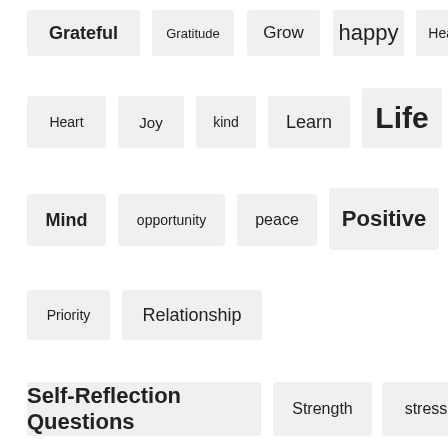[Figure (infographic): Tag cloud of self-reflection and wellness related terms in varying font sizes on light gray pill/rectangle backgrounds, arranged in a grid-like layout. Terms include: Grateful, Gratitude, Grow, happy, Healthy, Heart, Joy, kind, Learn, Life, Love, Mind, opportunity, peace, Positive, Power, Priority, Relationship, Self-Reflection Questions, Strength, stress, Strong, success, Support, Time, value]